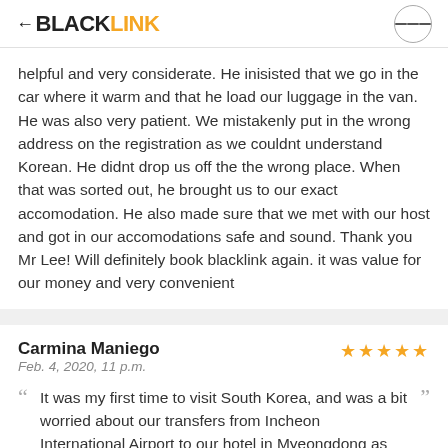BLACKLINK
helpful and very considerate. He inisisted that we go in the car where it warm and that he load our luggage in the van. He was also very patient. We mistakenly put in the wrong address on the registration as we couldnt understand Korean. He didnt drop us off the the wrong place. When that was sorted out, he brought us to our exact accomodation. He also made sure that we met with our host and got in our accomodations safe and sound. Thank you Mr Lee! Will definitely book blacklink again. it was value for our money and very convenient
Carmina Maniego
Feb. 4, 2020, 11 p.m.
It was my first time to visit South Korea, and was a bit worried about our transfers from Incheon International Airport to our hotel in Myeongdong as the schedule of our flight will arrive at SoKor quite late. No buses or trains available anymore during that time. Tried checking ride hailing apps but find it too expensive while deals from other travel booking sites but there were a lot of restrictions and add-ons. Good thing I came across Blacklink when I tried searching online. To be honest I